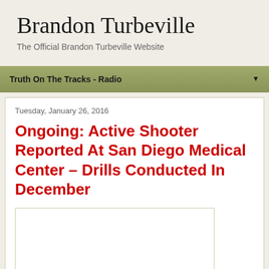Brandon Turbeville
The Official Brandon Turbeville Website
Truth On The Tracks - Radio
Tuesday, January 26, 2016
Ongoing: Active Shooter Reported At San Diego Medical Center – Drills Conducted In December
[Figure (other): White empty image placeholder box]